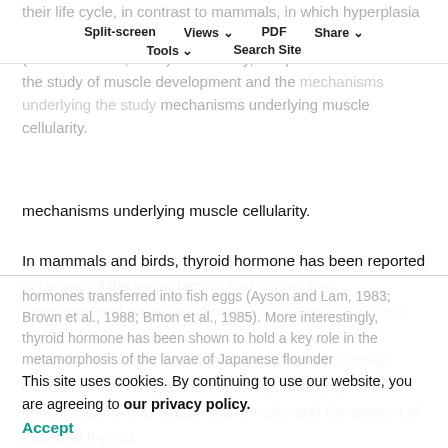their life cycle, in contrast to mammals, in which hyperplasia is restricted largely to the pre- and perinatal period (Johnston et al., 1998). In this way, fish provide a model for the study of muscle development and the mechanisms underlying muscle cellularity.
Split-screen  Views  PDF  Share  Tools  Search Site
In mammals and birds, thyroid hormone has been reported to be one of the major factors that control the developmental transition of myosin isoforms (Gambke et al., 1983; Butler-Browne et al., 1984; Gardahaut et al., 1992). In fish, larval development has been positively correlated with the plasma triiodothyronine (T3) concentrations of prespawning females and the amount of maternal thyroid hormones transferred into fish eggs (Ayson and Lam, 1983; Brown et al., 1988; Bmon et al., 1985). More interestingly, thyroid hormone has been shown to hold a key role in the metamorphosis of the larvae of Japanese flounder
This site uses cookies. By continuing to use our website, you are agreeing to our privacy policy.
Accept